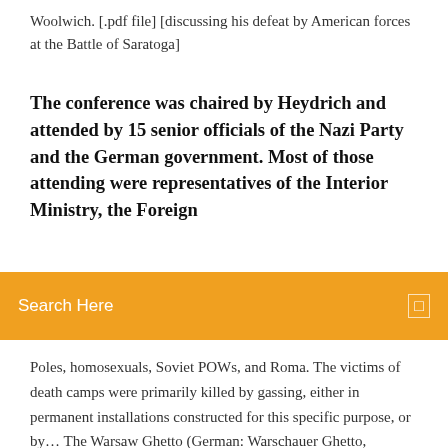Woolwich. [.pdf file] [discussing his defeat by American forces at the Battle of Saratoga]
The conference was chaired by Heydrich and attended by 15 senior officials of the Nazi Party and the German government. Most of those attending were representatives of the Interior Ministry, the Foreign
Search Here
Poles, homosexuals, Soviet POWs, and Roma. The victims of death camps were primarily killed by gassing, either in permanent installations constructed for this specific purpose, or by… The Warsaw Ghetto (German: Warschauer Ghetto, officially Jüdischer Wohnbezirk in Warschau, "Jewish Residential District in Warsaw"; Polish: getto warszawskie) was the largest of all the Jewish ghettos in German-occupied Europe during World… The portion of the novel told from Miranda's perspective is presented in epistolary form. As part of this affiliation, the LER